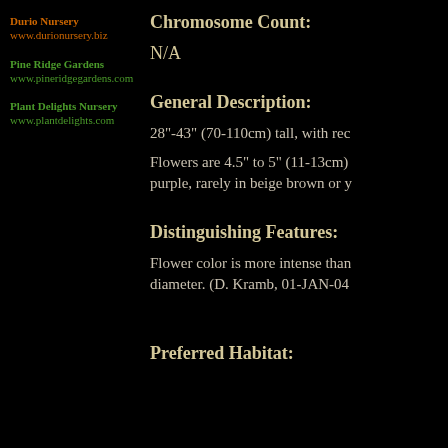Durio Nursery
www.durionursery.biz
Pine Ridge Gardens
www.pineridgegardens.com
Plant Delights Nursery
www.plantdelights.com
Chromosome Count:
N/A
General Description:
28"-43" (70-110cm) tall, with rec
Flowers are 4.5" to 5" (11-13cm) purple, rarely in beige brown or y
Distinguishing Features:
Flower color is more intense than diameter. (D. Kramb, 01-JAN-04
Preferred Habitat: